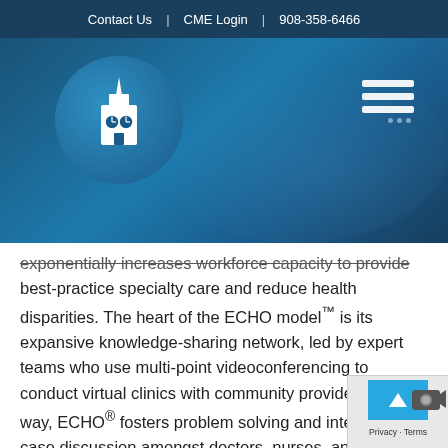Contact Us  |  CME Login  |  908-358-6466
[Figure (logo): Medical/educational institution logo: white building with clock tower icon inside a blue circle, on a blue gradient hero banner background with a hamburger menu icon on the right]
exponentially increases workforce capacity to provide best-practice specialty care and reduce health disparities. The heart of the ECHO model™ is its expansive knowledge-sharing network, led by expert teams who use multi-point videoconferencing to conduct virtual clinics with community providers. In this way, ECHO® fosters problem solving and interactive case discussion amongst doctors, nurses, and other clinicians, imparting invaluable insight to providing excellent specialty care to patients in their own communities.